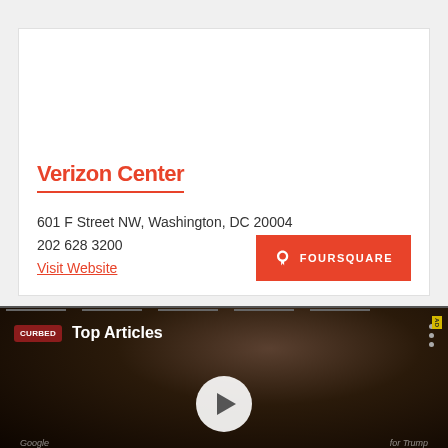Verizon Center
601 F Street NW, Washington, DC 20004
202 628 3200
Visit Website
[Figure (screenshot): Video thumbnail showing people at an event with a Curbed 'Top Articles' overlay and a play button in the center.]